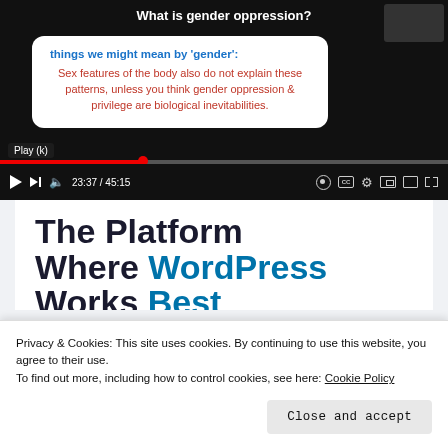[Figure (screenshot): YouTube video player showing a slide titled 'What is gender oppression?' with a white card containing blue heading 'things we might mean by gender:' and red body text about sex features, gender oppression and privilege being biological inevitabilities. Video time shows 23:37 / 45:15 with a red progress bar.]
[Figure (screenshot): Partial view of a website showing large bold heading 'The Platform Where WordPress Works Best' in dark and blue text, with a blue 'SEE PRICING' button visible at bottom right.]
Privacy & Cookies: This site uses cookies. By continuing to use this website, you agree to their use.
To find out more, including how to control cookies, see here: Cookie Policy
Close and accept